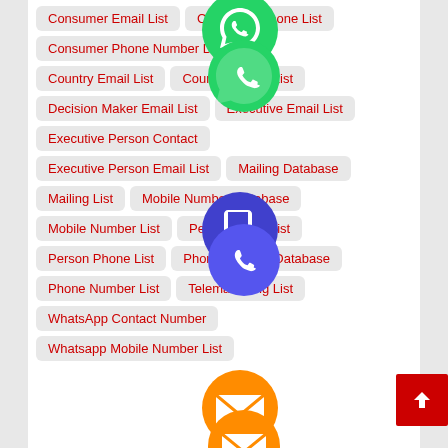Consumer Email List
Consumer Phone List
Consumer Phone Number Database
Country Email List
Country Phone List
Decision Maker Email List
Executive Email List
Executive Person Contact
Executive Person Email List
Mailing Database
Mailing List
Mobile Number Database
Mobile Number List
Person Email List
Person Phone List
Phone Number Database
Phone Number List
Telemarketing List
WhatsApp Contact Number
Whatsapp Mobile Number List